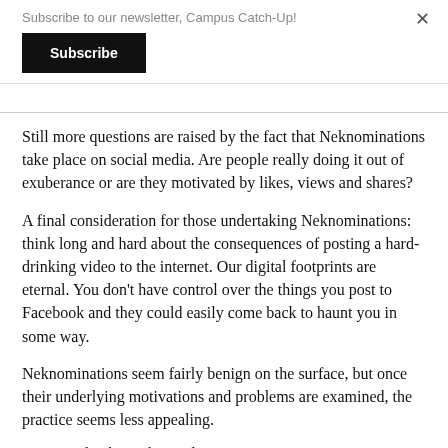Subscribe to our newsletter, Campus Catch-Up!
Subscribe
Still more questions are raised by the fact that Neknominations take place on social media. Are people really doing it out of exuberance or are they motivated by likes, views and shares?
A final consideration for those undertaking Neknominations: think long and hard about the consequences of posting a hard-drinking video to the internet. Our digital footprints are eternal. You don’t have control over the things you post to Facebook and they could easily come back to haunt you in some way.
Neknominations seem fairly benign on the surface, but once their underlying motivations and problems are examined, the practice seems less appealing.
— Journal Editorial Board